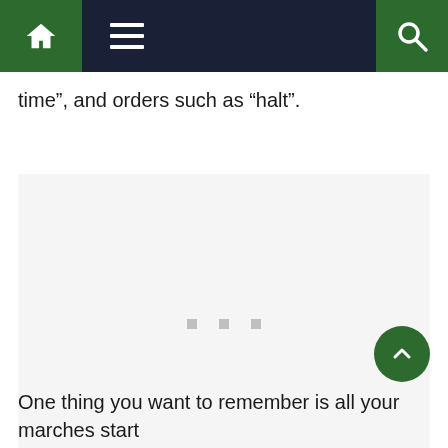Navigation bar with home, menu, and search icons
time”, and orders such as “halt”.
[Figure (other): Loading placeholder with three gray dots in a light gray box]
One thing you want to remember is all your marches start